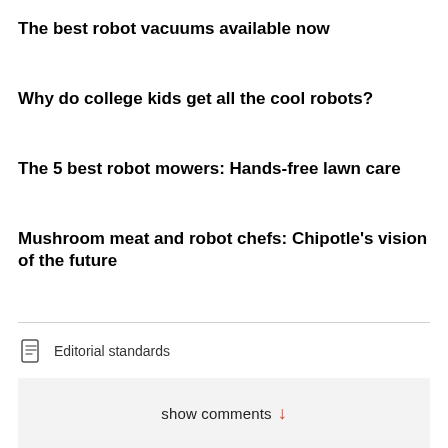The best robot vacuums available now
Why do college kids get all the cool robots?
The 5 best robot mowers: Hands-free lawn care
Mushroom meat and robot chefs: Chipotle's vision of the future
Editorial standards
show comments